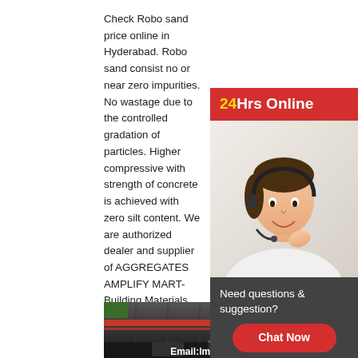Check Robo sand price online in Hyderabad. Robo sand consist no or near zero impurities. No wastage due to the controlled gradation of particles. Higher compressive with strength of concrete is achieved with zero silt content. We are authorized dealer and supplier of AGGREGATES AMPLIFY MART- Building Materials ,Amplify Mart supplies M-Sand or Robo Sand in Hyderabad. M-Sand or Robo sand used for the manufacturing of concrete & also Plaster works on walls. Due to the environmental effects of using River Sand in construction mostly replaced river sand in the construction. M-sand has lesser environmental effects and
[Figure (other): Chat widget with '24Hrs Online' red banner, agent photo with headset, and 'Need questions & suggestion? Chat Now' dark box with red button]
[Figure (photo): Photo of a large industrial building with dark grey/black facade, a red stripe, some green trees on the left, and construction machinery/trucks parked in front. Overlay text: Email:lmzgvip@gmail.com]